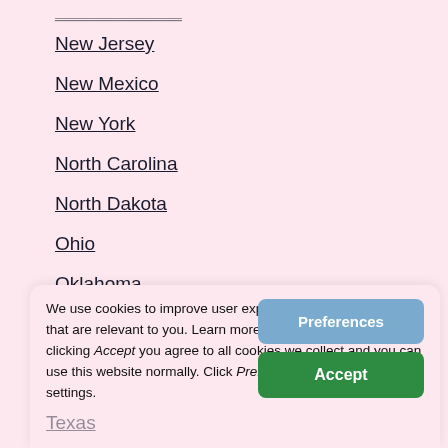New Jersey
New Mexico
New York
North Carolina
North Dakota
Ohio
Oklahoma
Oregon
Pennsylvania
We use cookies to improve user experience and to serve ads that are relevant to you. Learn more on Cookie Policy. By clicking Accept you agree to all cookies we collect and you can use this website normally. Click Preferences to change cookie settings.
Texas